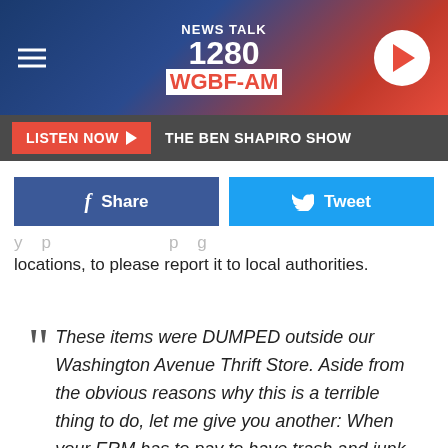[Figure (screenshot): NEWS TALK 1280 WGBF-AM radio station banner with hamburger menu icon on left and play button on right]
LISTEN NOW ▶  THE BEN SHAPIRO SHOW
[Figure (infographic): Facebook Share button and Twitter Tweet button side by side]
locations, to please report it to local authorities.
These items were DUMPED outside our Washington Avenue Thrift Store. Aside from the obvious reasons why this is a terrible thing to do, let me give you another: When your ERM has to pay to have trash and junk hauled off, it costs money...money that we